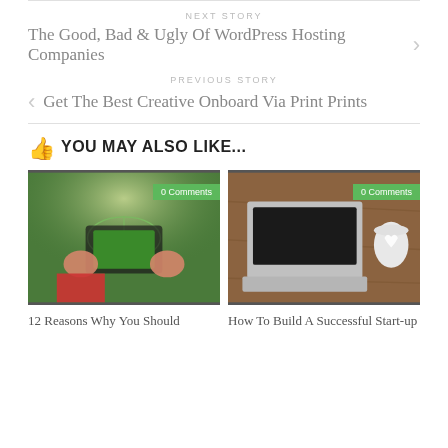NEXT STORY
The Good, Bad & Ugly Of WordPress Hosting Companies
PREVIOUS STORY
Get The Best Creative Onboard Via Print Prints
YOU MAY ALSO LIKE...
[Figure (photo): Hands holding a smartphone filming a football stadium match, with a green comment badge reading '0 Comments']
[Figure (photo): Laptop with a coffee heart design on a wooden surface, with a green comment badge reading '0 Comments']
12 Reasons Why You Should
How To Build A Successful Start-up